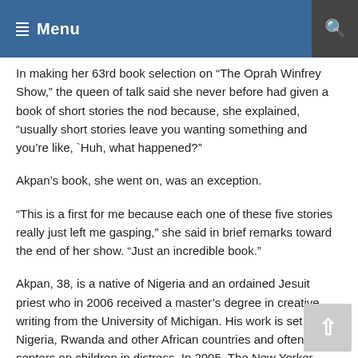Menu
In making her 63rd book selection on “The Oprah Winfrey Show,” the queen of talk said she never before had given a book of short stories the nod because, she explained, “usually short stories leave you wanting something and you’re like, `Huh, what happened?”
Akpan’s book, she went on, was an exception.
“This is a first for me because each one of these five stories really just left me gasping,” she said in brief remarks toward the end of her show. “Just an incredible book.”
Akpan, 38, is a native of Nigeria and an ordained Jesuit priest who in 2006 received a master’s degree in creative writing from the University of Michigan. His work is set in Nigeria, Rwanda and other African countries and often centers on children in distress. In 2005, The New Yorker featured him in its debut fiction issue.
Winfrey did not interview him during her show Friday, though